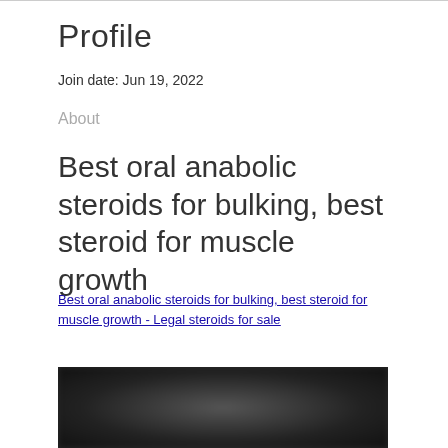Profile
Join date: Jun 19, 2022
About
Best oral anabolic steroids for bulking, best steroid for muscle growth
Best oral anabolic steroids for bulking, best steroid for muscle growth - Legal steroids for sale
[Figure (photo): Blurred/dark photo at bottom of page]